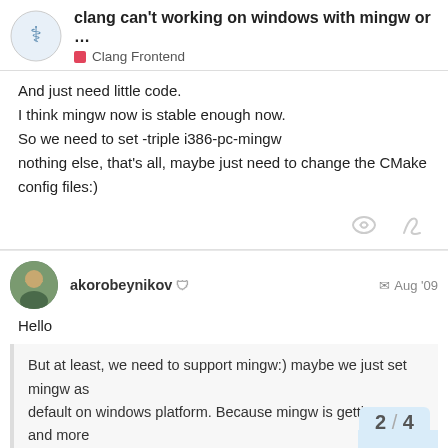clang can't working on windows with mingw or ... — Clang Frontend
And just need little code.
I think mingw now is stable enough now.
So we need to set -triple i386-pc-mingw
nothing else, that's all, maybe just need to change the CMake config files:)
akorobeynikov — Aug '09
Hello
But at least, we need to support mingw:) maybe we just set mingw as default on windows platform. Because mingw is getting more and more mature:)
2 / 4